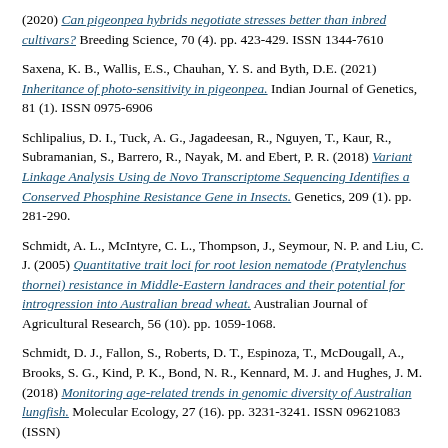(2020) Can pigeonpea hybrids negotiate stresses better than inbred cultivars? Breeding Science, 70 (4). pp. 423-429. ISSN 1344-7610
Saxena, K. B., Wallis, E.S., Chauhan, Y. S. and Byth, D.E. (2021) Inheritance of photo-sensitivity in pigeonpea. Indian Journal of Genetics, 81 (1). ISSN 0975-6906
Schlipalius, D. I., Tuck, A. G., Jagadeesan, R., Nguyen, T., Kaur, R., Subramanian, S., Barrero, R., Nayak, M. and Ebert, P. R. (2018) Variant Linkage Analysis Using de Novo Transcriptome Sequencing Identifies a Conserved Phosphine Resistance Gene in Insects. Genetics, 209 (1). pp. 281-290.
Schmidt, A. L., McIntyre, C. L., Thompson, J., Seymour, N. P. and Liu, C. J. (2005) Quantitative trait loci for root lesion nematode (Pratylenchus thornei) resistance in Middle-Eastern landraces and their potential for introgression into Australian bread wheat. Australian Journal of Agricultural Research, 56 (10). pp. 1059-1068.
Schmidt, D. J., Fallon, S., Roberts, D. T., Espinoza, T., McDougall, A., Brooks, S. G., Kind, P. K., Bond, N. R., Kennard, M. J. and Hughes, J. M. (2018) Monitoring age-related trends in genomic diversity of Australian lungfish. Molecular Ecology, 27 (16). pp. 3231-3241. ISSN 09621083 (ISSN)
Seyoum, S., Rachaputi, R., Chauhan, Y., Prasanna, B. and Fekybelu, S. (2018) Application of the APSIM model to exploit G × E × M